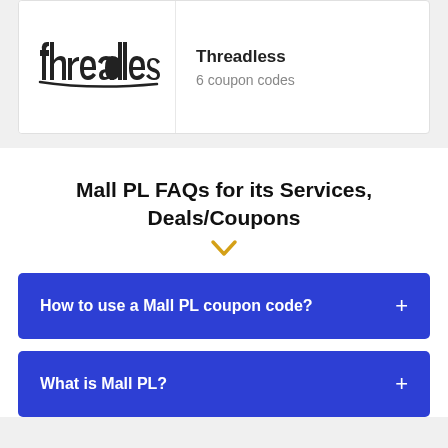[Figure (logo): Threadless brand logo in black handwritten style]
Threadless
6 coupon codes
Mall PL FAQs for its Services, Deals/Coupons
How to use a Mall PL coupon code?
What is Mall PL?